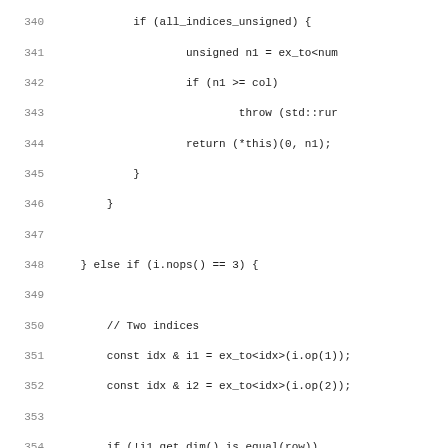Source code listing lines 340-371, C++ matrix indexing logic